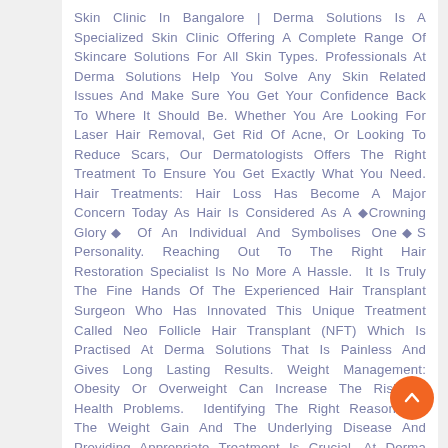Skin Clinic In Bangalore | Derma Solutions Is A Specialized Skin Clinic Offering A Complete Range Of Skincare Solutions For All Skin Types. Professionals At Derma Solutions Help You Solve Any Skin Related Issues And Make Sure You Get Your Confidence Back To Where It Should Be. Whether You Are Looking For Laser Hair Removal, Get Rid Of Acne, Or Looking To Reduce Scars, Our Dermatologists Offers The Right Treatment To Ensure You Get Exactly What You Need. Hair Treatments: Hair Loss Has Become A Major Concern Today As Hair Is Considered As A ◆Crowning Glory◆ Of An Individual And Symbolises One◆S Personality. Reaching Out To The Right Hair Restoration Specialist Is No More A Hassle. It Is Truly The Fine Hands Of The Experienced Hair Transplant Surgeon Who Has Innovated This Unique Treatment Called Neo Follicle Hair Transplant (NFT) Which Is Practised At Derma Solutions That Is Painless And Gives Long Lasting Results. Weight Management: Obesity Or Overweight Can Increase The Risk Of Health Problems. Identifying The Right Reason For The Weight Gain And The Underlying Disease And Providing Appropriate Treatment Is Crucial. At Derma Solutions, We Understand The Body Condition Of The Person And Recommend Appropriate Weight Management Program For Healthy Weight Loss. Book Your Appointment Today! Skin